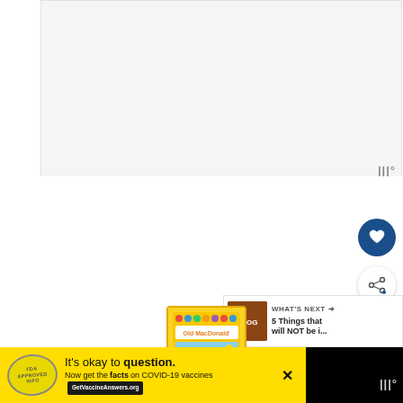[Figure (photo): Large white/blank image area taking up the upper portion of the page, appears to be a loading or empty image placeholder]
|||°
[Figure (other): Broken image icon placeholder in the center of the page]
[Figure (other): Heart/favorite button - dark blue circular button with white heart icon]
[Figure (other): Share button - white circular button with share/network icon]
[Figure (other): What's Next panel showing thumbnail image and text '5 Things that will NOT be i...' with arrow]
[Figure (photo): Old MacDonald product book/toy with colorful farm animal illustrations on yellow background]
[Figure (other): Advertisement banner: It's okay to question. Now get the facts on COVID-19 vaccines. GetVaccineAnswers.org]
|||°